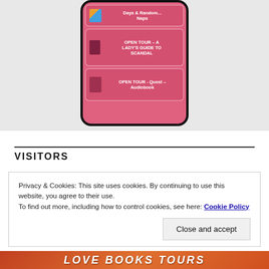[Figure (screenshot): A smartphone screen showing a pink app interface with book tour listings: a top card with book thumbnail and 'Days & Random... Naps', a middle card 'OPEN TOUR – A LADY'S GUIDE TO SCANDAL', and a bottom card 'OPEN TOUR - Quest – Audiobook'. The phone has a dark rounded frame on a light gray background.]
VISITORS
Privacy & Cookies: This site uses cookies. By continuing to use this website, you agree to their use.
To find out more, including how to control cookies, see here: Cookie Policy
Close and accept
LOVE BOOKS TOURS